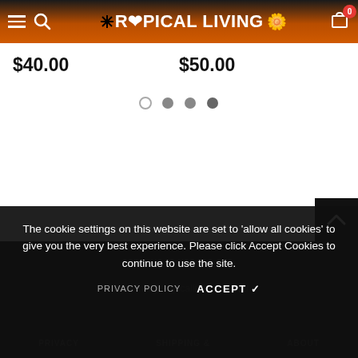TROPICAL LIVING — navigation header with hamburger menu, search icon, logo, and cart (0 items)
$40.00
$50.00
[Figure (other): Carousel pagination dots: 4 dots, first empty/outline, second through fourth filled grey/dark]
[Figure (other): Back-to-top chevron button, black background, white up-arrow]
The cookie settings on this website are set to 'allow all cookies' to give you the very best experience. Please click Accept Cookies to continue to use the site.
PRIVACY POLICY    ACCEPT ✓
PRIVACY    SHIPPING &    ABOUT